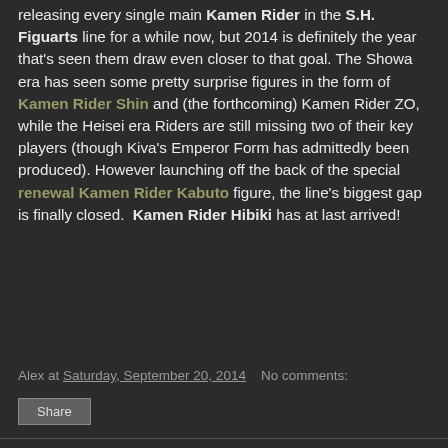releasing every single main Kamen Rider in the S.H. Figuarts line for a while now, but 2014 is definitely the year that's seen them draw even closer to that goal. The Showa era has seen some pretty surprise figures in the form of Kamen Rider Shin and (the forthcoming) Kamen Rider ZO, while the Heisei era Riders are still missing two of their key players (though Kiva's Emperor Form has admittedly been produced). However launching off the back of the special renewal Kamen Rider Kabuto figure, the line's biggest gap is finally closed.  Kamen Rider Hibiki has at last arrived!
Alex at Saturday, September 20, 2014   No comments:
Share
Thursday, 18 September 2014
Anime REVIEW: Gargantia on the Verdurous Planet
[Figure (photo): Thumbnail image for Gargantia on the Verdurous Planet anime review]